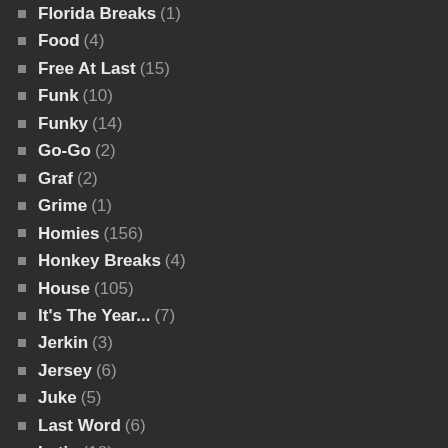Florida Breaks (1)
Food (4)
Free At Last (15)
Funk (10)
Funky (14)
Go-Go (2)
Graf (2)
Grime (1)
Homies (156)
Honkey Breaks (4)
House (105)
It's The Year... (7)
Jerkin (3)
Jersey (6)
Juke (5)
Last Word (6)
Latin (18)
Lil B (5)
Louisiana (6)
Lunch Break Beats (17)
MASH (17)
Memphis (7)